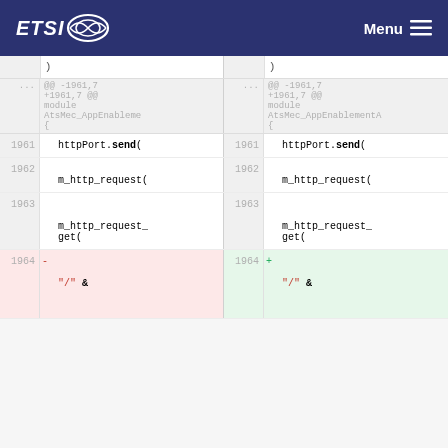ETSI  Menu
[Figure (screenshot): Diff view of code changes. Left side shows old code, right side shows new code. Line numbers 1961-1964 visible. Lines show httpPort.send(, m_http_request(, m_http_request_get(. Line 1964 is a deletion on left (red background, minus sign) and addition on right (green background, plus sign). Both sides show '"/' & at bottom.]